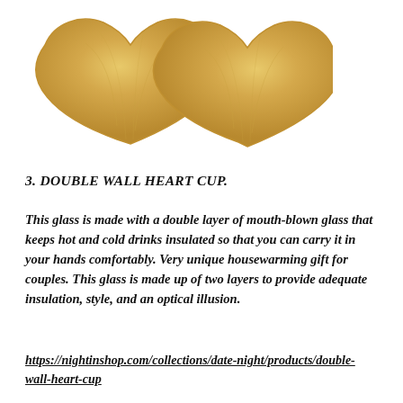[Figure (photo): Two heart-shaped bamboo/wooden plates or trays side by side on a white background]
3. DOUBLE WALL HEART CUP.
This glass is made with a double layer of mouth-blown glass that keeps hot and cold drinks insulated so that you can carry it in your hands comfortably. Very unique housewarming gift for couples. This glass is made up of two layers to provide adequate insulation, style, and an optical illusion.
https://nightinshop.com/collections/date-night/products/double-wall-heart-cup